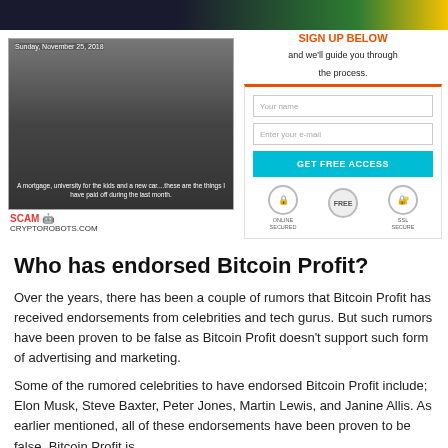[Figure (screenshot): Screenshot of a video thumbnail showing a man with date 'Sunday, November 25, 2018' and caption text about mortgage and car, with 'SCAM' label and 'CRYPTOROBOTS.COM' text below]
[Figure (screenshot): Sign-up form with 'SIGN UP BELOW and we'll guide you through the process.' header in orange, input fields for name and email, a cyan 'GET FREE ACCESS' button, and trust/security icons]
Who has endorsed Bitcoin Profit?
Over the years, there has been a couple of rumors that Bitcoin Profit has received endorsements from celebrities and tech gurus. But such rumors have been proven to be false as Bitcoin Profit doesn't support such form of advertising and marketing.
Some of the rumored celebrities to have endorsed Bitcoin Profit include; Elon Musk, Steve Baxter, Peter Jones, Martin Lewis, and Janine Allis. As earlier mentioned, all of these endorsements have been proven to be false. Bitcoin Profit is